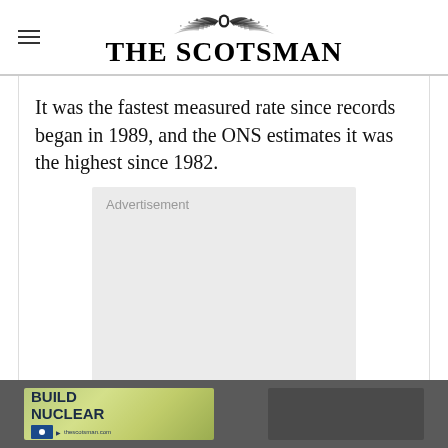THE SCOTSMAN
It was the fastest measured rate since records began in 1989, and the ONS estimates it was the highest since 1982.
[Figure (other): Advertisement placeholder box (light grey rectangle with 'Advertisement' label)]
[Figure (other): Bottom advertisement banner bar with green 'BUILD NUCLEAR' ad on left and grey button on right, on dark grey background]